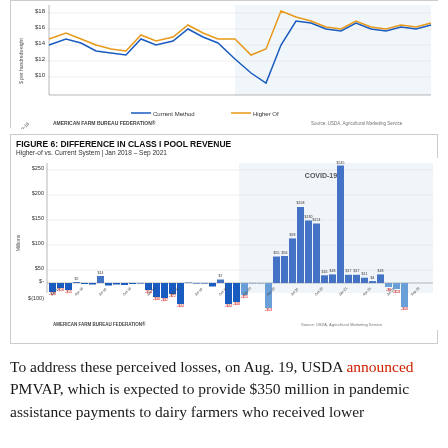[Figure (continuous-plot): Line chart (top portion cut off) showing Class I price per hundredweight comparing Current Method vs Higher Of, from Jan 2018 to Nov 2021. Blue line = Current Method, Orange line = Higher Of. Values range from about $10 to $18+. Shaded region indicates COVID-19 period.]
[Figure (bar-chart): Bar chart showing difference in Class I Pool Revenue between Higher-of vs. Current System from Jan 2018 to Sep 2021. Values mostly near zero before COVID, then large positive bars during COVID period (mid-2020 to early 2021), peaking around $245M. Some negative bars visible early in series and later.]
To address these perceived losses, on Aug. 19, USDA announced PMVAP, which is expected to provide $350 million in pandemic assistance payments to dairy farmers who received lower